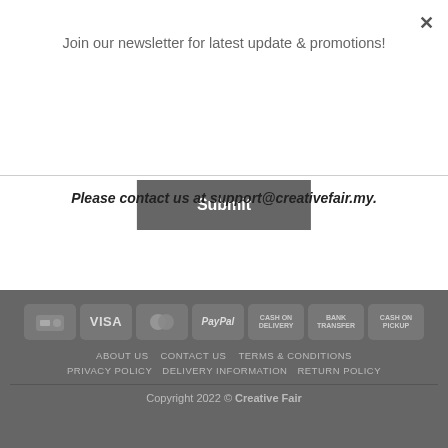×
Join our newsletter for latest update & promotions!
Submit
Please contact us at support@creativefair.my.
[Figure (other): Payment method icons: folder/wallet icon, VISA, MasterCard, PayPal, CASH ON DELIVERY, BANK TRANSFER, CASH ON PICKUP]
ABOUT US  CONTACT US  TERMS & CONDITIONS
PRIVACY POLICY  DELIVERY INFORMATION  RETURN POLICY
Copyright 2022 © Creative Fair